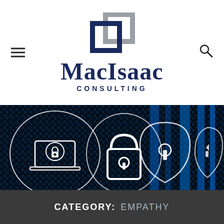[Figure (logo): MacIsaac Consulting logo: two overlapping square bracket shapes in dark navy and gray above, with 'MacIsaac' in bold serif and 'CONSULTING' in spaced sans-serif below]
[Figure (photo): Cybersecurity themed banner image showing glowing icons of a locked laptop, padlock, keyhole shield, and shield badge against a dark digital circuit board background with blue binary patterns]
CATEGORY:  EMPATHY